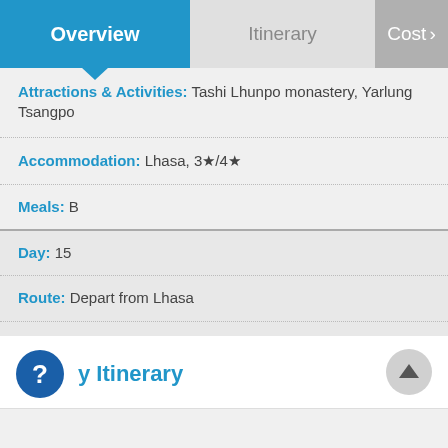Overview | Itinerary | Cost
Attractions & Activities: Tashi Lhunpo monastery, Yarlung Tsangpo
Accommodation: Lhasa, 3★/4★
Meals: B
Day: 15
Route: Depart from Lhasa
Attractions & Activities: Send off to train/airport
Accommodation: /
Meals: B
My Itinerary